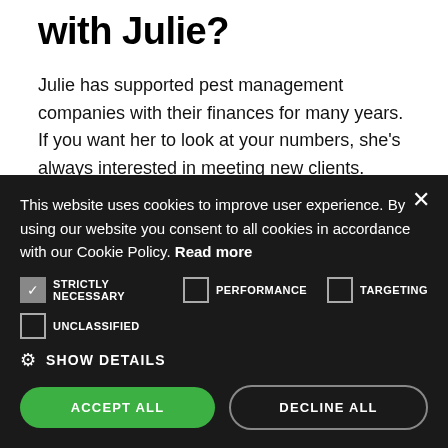with Julie?
Julie has supported pest management companies with their finances for many years. If you want her to look at your numbers, she's always interested in meeting new clients.
This website uses cookies to improve user experience. By using our website you consent to all cookies in accordance with our Cookie Policy. Read more
STRICTLY NECESSARY (checked), PERFORMANCE (unchecked), TARGETING (unchecked)
UNCLASSIFIED (unchecked)
SHOW DETAILS
ACCEPT ALL | DECLINE ALL